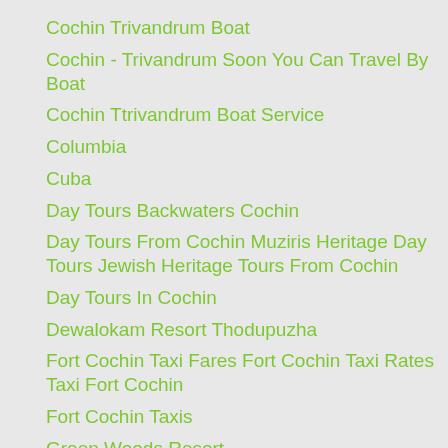Cochin Trivandrum Boat
Cochin - Trivandrum Soon You Can Travel By Boat
Cochin Ttrivandrum Boat Service
Columbia
Cuba
Day Tours Backwaters Cochin
Day Tours From Cochin Muziris Heritage Day Tours Jewish Heritage Tours From Cochin
Day Tours In Cochin
Dewalokam Resort Thodupuzha
Fort Cochin Taxi Fares Fort Cochin Taxi Rates Taxi Fort Cochin
Fort Cochin Taxis
Green Woods Resort
Green Woods Resort Kumily
Green Woods Resort Thekkady
Hornbill Camp Kayaking
Hornbill Camp Thattekad
Hungary
Indian E Tourist Visa